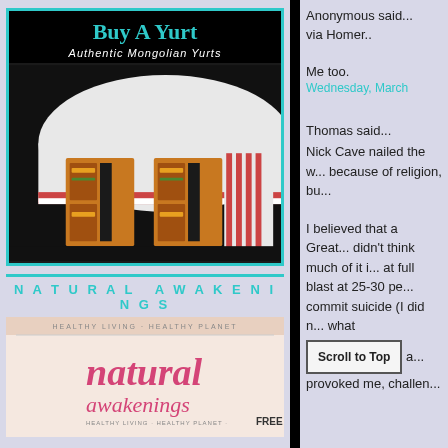[Figure (illustration): Buy A Yurt advertisement with photo of a Mongolian yurt with ornate wooden door on black background. Title reads 'Buy A Yurt' in teal, subtitle reads 'Authentic Mongolian Yurts' in white italic.]
NATURAL AWAKENINGS
[Figure (photo): Natural Awakenings magazine cover showing 'natural awakenings' text in pink, with tagline 'HEALTHY LIVING HEALTHY PLANET' and 'FREE']
Anonymous said...
via Homer..
Me too.
Wednesday, March
Thomas said...
Nick Cave nailed the w... because of religion, bu...
I believed that a Great... didn't think much of it i... at full blast at 25-30 pe... commit suicide (I did n... what... a... provoked me, challen...
Scroll to Top